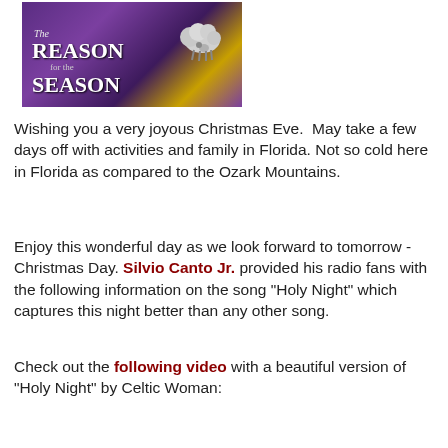[Figure (illustration): Image showing a nativity/Christmas scene with purple background and a lamb, with text overlay reading 'The Reason for the Season']
Wishing you a very joyous Christmas Eve.  May take a few days off with activities and family in Florida. Not so cold here in Florida as compared to the Ozark Mountains.
Enjoy this wonderful day as we look forward to tomorrow - Christmas Day. Silvio Canto Jr. provided his radio fans with the following information on the song "Holy Night" which captures this night better than any other song.
Check out the following video with a beautiful version of "Holy Night" by Celtic Woman: